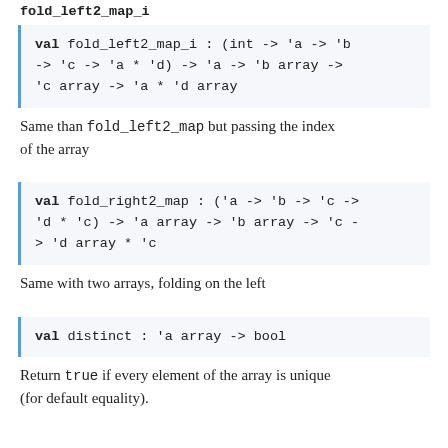val fold_left2_map_i : (int -> 'a -> 'b -> 'c -> 'a * 'd) -> 'a -> 'b array -> 'c array -> 'a * 'd array
Same than fold_left2_map but passing the index of the array
val fold_right2_map : ('a -> 'b -> 'c -> 'd * 'c) -> 'a array -> 'b array -> 'c -> 'd array * 'c
Same with two arrays, folding on the left
val distinct : 'a array -> bool
Return true if every element of the array is unique (for default equality).